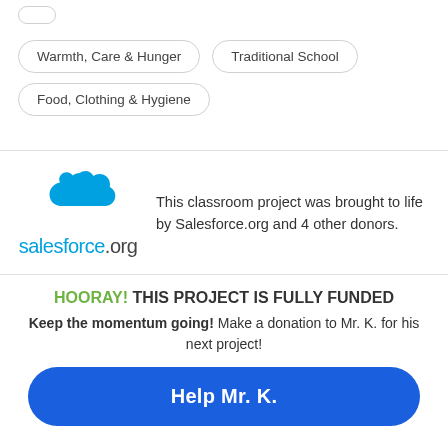Warmth, Care & Hunger
Traditional School
Food, Clothing & Hygiene
[Figure (logo): Salesforce.org logo — blue cloud icon above the text 'salesforce.org']
This classroom project was brought to life by Salesforce.org and 4 other donors.
HOORAY! THIS PROJECT IS FULLY FUNDED
Keep the momentum going! Make a donation to Mr. K. for his next project!
Help Mr. K.